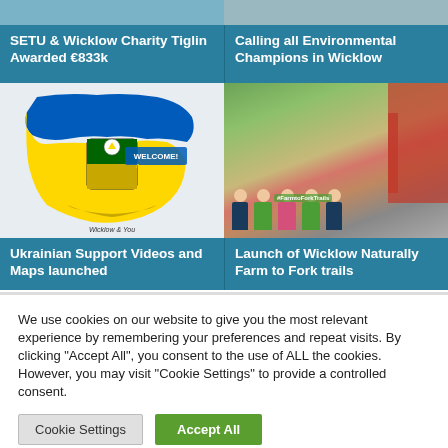[Figure (photo): Top banner photos of buildings/greenhouses]
SETU & Wicklow Charity Tiglin Awarded €833k
Calling all Environmental Champions in Wicklow
[Figure (illustration): Wicklow county crest overlaid on Ukraine map colors with WELCOME text]
[Figure (photo): Group of people in green aprons at Farm to Fork trails launch]
Ukrainian Support Videos and Maps launched
Launch of Wicklow Naturally Farm to Fork trails
We use cookies on our website to give you the most relevant experience by remembering your preferences and repeat visits. By clicking "Accept All", you consent to the use of ALL the cookies. However, you may visit "Cookie Settings" to provide a controlled consent.
Cookie Settings
Accept All